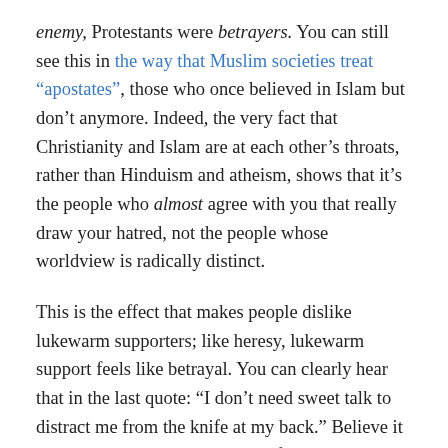enemy, Protestants were betrayers. You can still see this in the way that Muslim societies treat “apostates”, those who once believed in Islam but don’t anymore. Indeed, the very fact that Christianity and Islam are at each other’s throats, rather than Hinduism and atheism, shows that it’s the people who almost agree with you that really draw your hatred, not the people whose worldview is radically distinct.
This is the effect that makes people dislike lukewarm supporters; like heresy, lukewarm support feels like betrayal. You can clearly hear that in the last quote: “I don’t need sweet talk to distract me from the knife at my back.” Believe it or not, Libertarians, my support for replacing the social welfare state with a basic income, decriminalizing drugs, and dramatically reducing our incarceration rate is